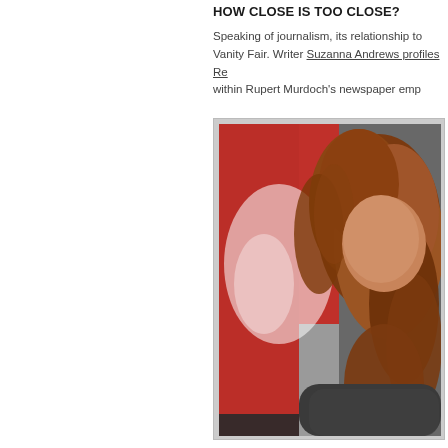HOW CLOSE IS TOO CLOSE?
Speaking of journalism, its relationship to Vanity Fair. Writer Suzanna Andrews profiles Re within Rupert Murdoch's newspaper emp
[Figure (photo): Photograph of a woman with curly reddish-brown hair against a red background, partially visible]